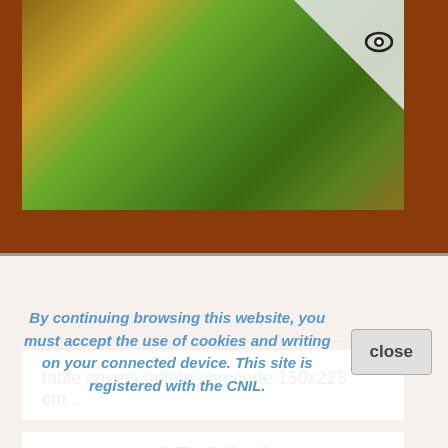[Figure (photo): Green taffeta brocade table cover draped over a wooden table in a shop setting]
table covers taffetas brocade 150x225 cm...
65,00 €
Add to cart
More
7 In Stock
By continuing browsing this website, you must accept the use of cookies and writing on your connected device. This site is registered with the CNIL.
close